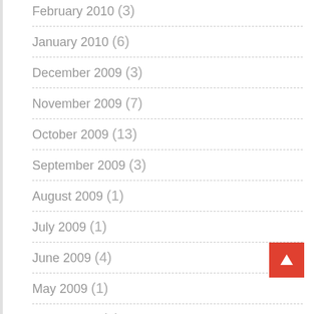February 2010 (3)
January 2010 (6)
December 2009 (3)
November 2009 (7)
October 2009 (13)
September 2009 (3)
August 2009 (1)
July 2009 (1)
June 2009 (4)
May 2009 (1)
March 2009 (5)
February 2009 (3)
January 2009 (6)